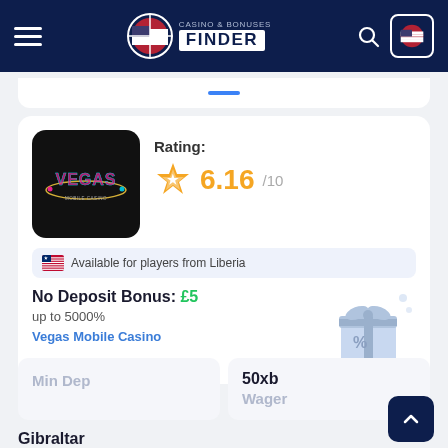Casino & Bonuses Finder
[Figure (screenshot): Vegas Mobile Casino logo — black rounded square with neon VEGAS text and oval]
Rating: 6.16/10
Available for players from Liberia
No Deposit Bonus: £5
up to 5000%
Vegas Mobile Casino
50xb Wager
Min Dep
Gibraltar License